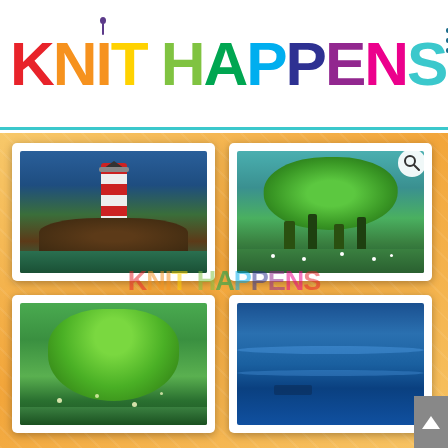KNIT HAPPENS
[Figure (photo): Gallery of four framed needle-felted artworks on an orange/gold patterned background. Top-left: a lighthouse on rocks with ocean waves. Top-right: a rounded green tree on a meadow with small white flowers. Bottom-left: a weeping/falling tree in green tones. Bottom-right: a blue seascape. A watermark reading 'KNIT HAPPENS' appears in rainbow letters over the gallery center. A search magnifier icon appears top-right of the gallery.]